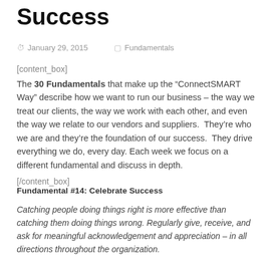Success
January 29, 2015   Fundamentals
[content_box]
The 30 Fundamentals that make up the “ConnectSMART Way” describe how we want to run our business – the way we treat our clients, the way we work with each other, and even the way we relate to our vendors and suppliers.  They’re who we are and they’re the foundation of our success.  They drive everything we do, every day. Each week we focus on a different fundamental and discuss in depth.
[/content_box]
Fundamental #14: Celebrate Success
Catching people doing things right is more effective than catching them doing things wrong. Regularly give, receive, and ask for meaningful acknowledgement and appreciation – in all directions throughout the organization.